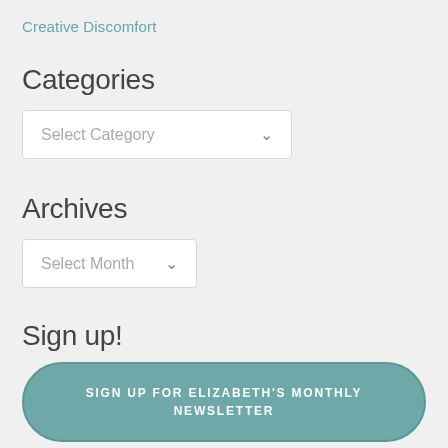Creative Discomfort
Categories
Select Category
Archives
Select Month
Sign up!
SIGN UP FOR ELIZABETH'S MONTHLY NEWSLETTER